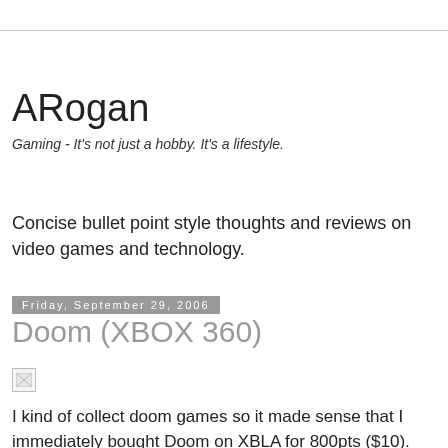ARogan
Gaming - It's not just a hobby. It's a lifestyle.
Concise bullet point style thoughts and reviews on video games and technology.
Friday, September 29, 2006
Doom (XBOX 360)
[Figure (other): Broken image placeholder thumbnail]
I kind of collect doom games so it made sense that I immediately bought Doom on XBLA for 800pts ($10).
My Doom Collection: